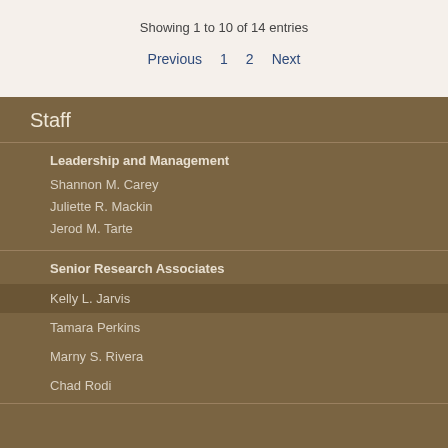Showing 1 to 10 of 14 entries
Previous  1  2  Next
Staff
Leadership and Management
Shannon M. Carey
Juliette R. Mackin
Jerod M. Tarte
Senior Research Associates
Kelly L. Jarvis
Tamara Perkins
Marny S. Rivera
Chad Rodi